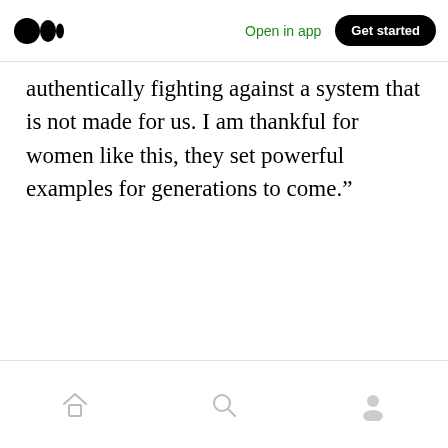Medium logo | Open in app | Get started
authentically fighting against a system that is not made for us. I am thankful for women like this, they set powerful examples for generations to come.”
Home | Search | Profile